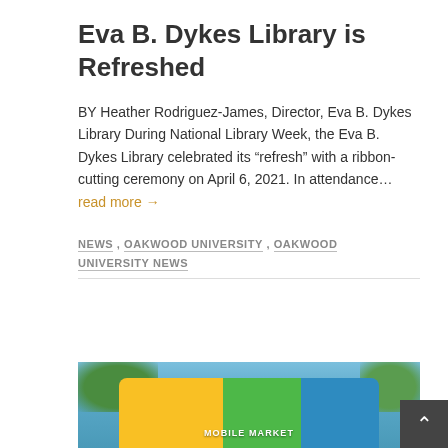Eva B. Dykes Library is Refreshed
BY Heather Rodriguez-James, Director, Eva B. Dykes Library During National Library Week, the Eva B. Dykes Library celebrated its “refresh” with a ribbon-cutting ceremony on April 6, 2021. In attendance… read more →
NEWS , OAKWOOD UNIVERSITY , OAKWOOD UNIVERSITY NEWS
[Figure (photo): A colorful mobile market bus or truck with yellow, green, and blue sections, partially visible at the bottom of the page. Trees visible in background, blue sky.]